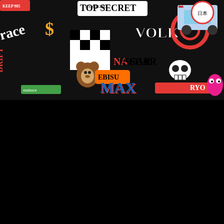[Figure (photo): Sticker bomb collage image showing densely packed colorful stickers with text including TOP SECRET, VOLK, EBISU, NASCAR, RYO, DRIFT, and many other automotive/JDM themed stickers and graphics on a black background]
[Figure (photo): Photograph of a car steering wheel covered in sticker bomb decals (various colorful stickers densely packed), shown inside a vehicle with a gray/silver dashboard surround visible. The word 'stattuce' or similar branding visible in blue at the bottom of the steering wheel.]
Share This ∨  ×